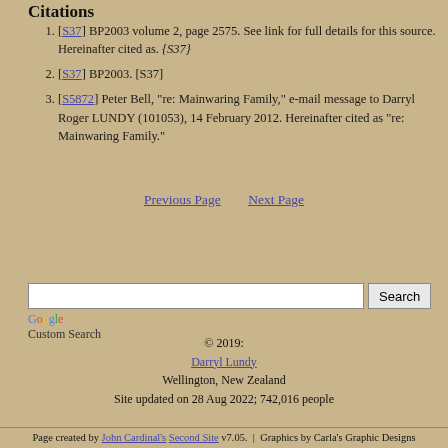Citations
[S37] BP2003 volume 2, page 2575. See link for full details for this source. Hereinafter cited as. {S37}
[S37] BP2003. [S37]
[S5872] Peter Bell, "re: Mainwaring Family," e-mail message to Darryl Roger LUNDY (101053), 14 February 2012. Hereinafter cited as "re: Mainwaring Family."
Previous Page   Next Page
Google Custom Search
© 2019:
Darryl Lundy
Wellington, New Zealand
Site updated on 28 Aug 2022; 742,016 people
Page created by John Cardinal's Second Site v7.05.  |  Graphics by Carla's Graphic Designs